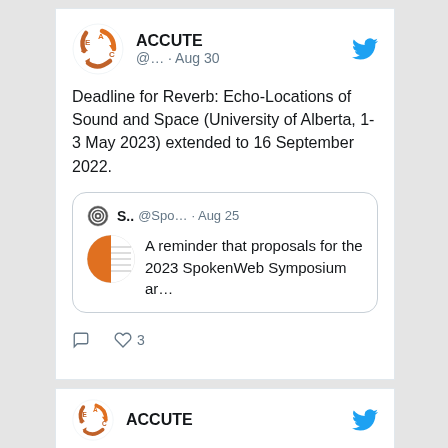[Figure (screenshot): ACCUTE Twitter post screenshot. Header shows ACCUTE logo (orange arrow circle), name 'ACCUTE', handle '@... · Aug 30', and Twitter bird icon. Body text: 'Deadline for Reverb: Echo-Locations of Sound and Space (University of Alberta, 1-3 May 2023) extended to 16 September 2022.' Quoted tweet from 'S.. @Spo... · Aug 25' with avatar and text 'A reminder that proposals for the 2023 SpokenWeb Symposium ar...'. Actions row: comment icon, heart icon with count 3.]
Deadline for Reverb: Echo-Locations of Sound and Space (University of Alberta, 1-3 May 2023) extended to 16 September 2022.
A reminder that proposals for the 2023 SpokenWeb Symposium ar...